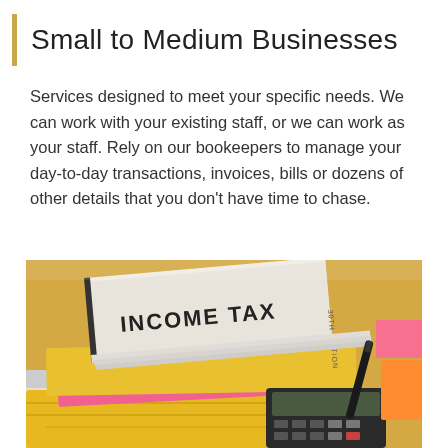Small to Medium Businesses
Services designed to meet your specific needs. We can work with your existing staff, or we can work as your staff. Rely on our bookeepers to manage your day-to-day transactions, invoices, bills or dozens of other details that you don't have time to chase.
[Figure (photo): Photo of stacked tax books including one labeled 'INCOME TAX', colorful folders and papers, and a calculator on a desk — typical accounting/bookkeeping office scene.]